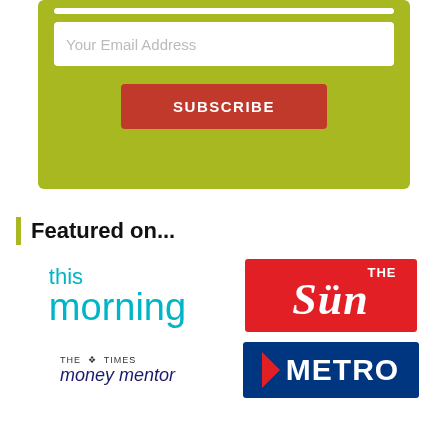[Figure (infographic): Green subscription form box with a text input field placeholder 'Your Email Address' and a red 'SUBSCRIBE' button]
Featured on...
[Figure (logo): This Morning TV show logo in teal/cyan color]
[Figure (logo): The Sun newspaper logo - red background with white italic text]
[Figure (logo): The Times Money Mentor logo]
[Figure (logo): Metro newspaper logo - dark blue background with white bold text and red arrow]